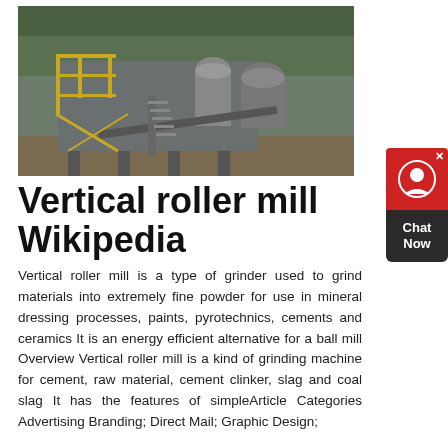[Figure (photo): Industrial vertical roller mill facility with yellow steel scaffolding, metal structures, conveyor belts, and large cylindrical grinding equipment, outdoor industrial setting]
Vertical roller mill Wikipedia
Vertical roller mill is a type of grinder used to grind materials into extremely fine powder for use in mineral dressing processes, paints, pyrotechnics, cements and ceramics It is an energy efficient alternative for a ball mill Overview Vertical roller mill is a kind of grinding machine for cement, raw material, cement clinker, slag and coal slag It has the features of simpleArticle Categories Advertising Branding; Direct Mail; Graphic Design;